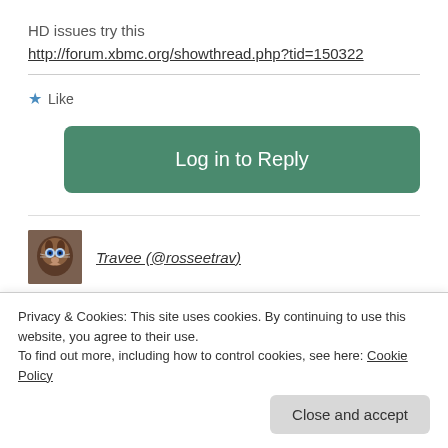HD issues try this
http://forum.xbmc.org/showthread.php?tid=150322
★ Like
Log in to Reply
Travee (@rosseetrav)
[Figure (photo): Avatar photo of a cat (Siamese)]
Privacy & Cookies: This site uses cookies. By continuing to use this website, you agree to their use.
To find out more, including how to control cookies, see here: Cookie Policy
Close and accept